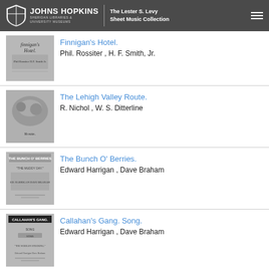JOHNS HOPKINS Sheridan Libraries & University Museums | The Lester S. Levy Sheet Music Collection
Finnigan's Hotel.
Phil. Rossiter , H. F. Smith, Jr.
The Lehigh Valley Route.
R. Nichol , W. S. Ditterline
The Bunch O' Berries.
Edward Harrigan , Dave Braham
Callahan's Gang. Song.
Edward Harrigan , Dave Braham